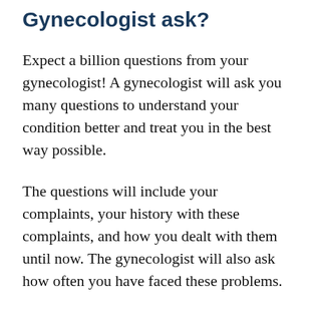Gynecologist ask?
Expect a billion questions from your gynecologist! A gynecologist will ask you many questions to understand your condition better and treat you in the best way possible.
The questions will include your complaints, your history with these complaints, and how you dealt with them until now. The gynecologist will also ask how often you have faced these problems.